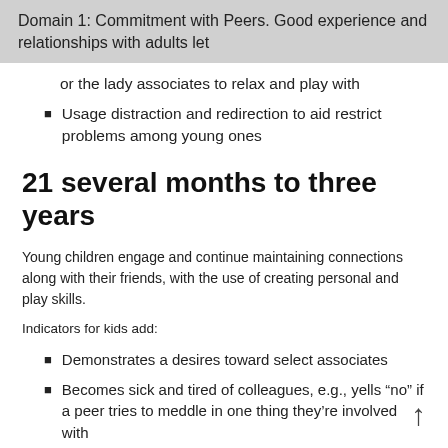Domain 1: Commitment with Peers. Good experience and relationships with adults let
or the lady associates to relax and play with
Usage distraction and redirection to aid restrict problems among young ones
21 several months to three years
Young children engage and continue maintaining connections along with their friends, with the use of creating personal and play skills.
Indicators for kids add:
Demonstrates a desires toward select associates
Becomes sick and tired of colleagues, e.g., yells “no” if a peer tries to meddle in one thing they’re involved with
Participates in posting, when encouraged